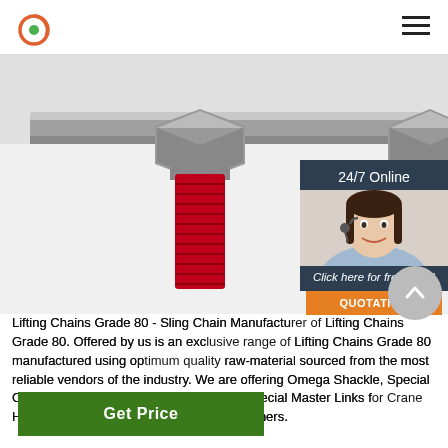[Logo] [Hamburger menu]
[Figure (photo): Close-up photograph of two large hex bolts/nuts with red threaded shanks against a white background — industrial lifting chain hardware]
[Figure (infographic): 24/7 Online chat widget with a smiling female customer service agent wearing a headset, a 'Click here for free chat!' CTA, and an orange QUOTATION button]
Lifting Chains Grade 80 - Sling Chain Manufacturer of Lifting Chains Grade 80. Offered by us is an exclusive range of Lifting Chains Grade 80 manufactured using optimum quality raw-material sourced from the most reliable vendors of the industry. We are offering Omega Shackle, Special Oblong Master-link, Oblong Master-link, Special Master Links for Crane Hooks, Sub-Assembly, Sling Chains and others.
Get Price